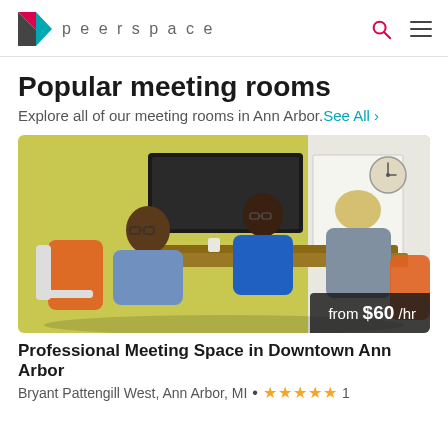peerspace
Popular meeting rooms
Explore all of our meeting rooms in Ann Arbor. See All ›
[Figure (photo): Three people seated around a conference table in a meeting room with yellow walls and orange chairs, a whiteboard and TV monitor visible in background. Price badge: from $60 /hr]
Professional Meeting Space in Downtown Ann Arbor
Bryant Pattengill West, Ann Arbor, MI • ★★★★★ 1